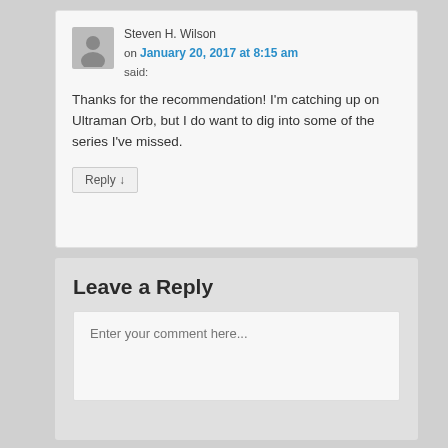Steven H. Wilson on January 20, 2017 at 8:15 am said:
Thanks for the recommendation! I'm catching up on Ultraman Orb, but I do want to dig into some of the series I've missed.
Reply ↓
Leave a Reply
Enter your comment here...